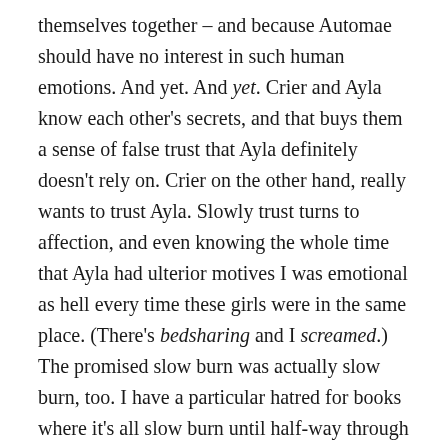themselves together – and because Automae should have no interest in such human emotions. And yet. And yet. Crier and Ayla know each other's secrets, and that buys them a sense of false trust that Ayla definitely doesn't rely on. Crier on the other hand, really wants to trust Ayla. Slowly trust turns to affection, and even knowing the whole time that Ayla had ulterior motives I was emotional as hell every time these girls were in the same place. (There's bedsharing and I screamed.) The promised slow burn was actually slow burn, too. I have a particular hatred for books where it's all slow burn until half-way through and then all of a sudden it's all resolved and that's the end of that. Crier's War does not do that. The closer they grow, the more careful they get and it's so beautiful. I can't wait for Iron Heart to